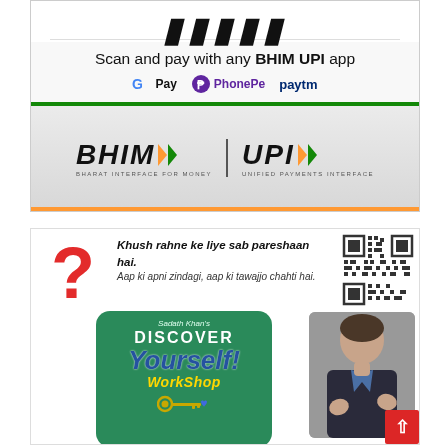[Figure (photo): BHIM UPI payment signage showing 'Scan and pay with any BHIM UPI app' with Google Pay, PhonePe, and Paytm logos, and BHIM UPI branding at bottom with saffron/green triangle motifs and text 'Bharat Interface for Money | Unified Payments Interface']
[Figure (photo): Advertisement for 'Discover Yourself Workshop' by Sadath Khan featuring a large red question mark, Urdu/Hindi text 'Khush rahne ke liye sab pareshaan hai. Aap ki apni zindagi, aap ki tawajjo chahti hai.', a QR code, a green card with workshop branding, a key icon, and a photo of a man in a suit.]